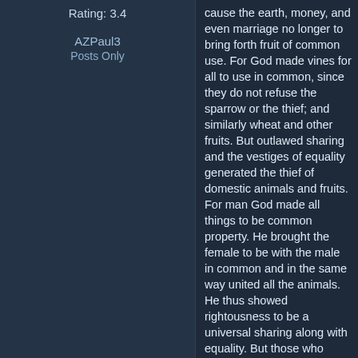Rating: 3.4
AZPaul3
Posts Only
cause the earth, money, and even marriage no longer to bring forth fruit of common use. For God made vines for all to use in common, since they do not refuse the sparrow or the thief; and similarly wheat and other fruits. But outlawed sharing and the vestiges of equality generated the thief of domestic animals and fruits. For man God made all things to be common property. He brought the female to be with the male in common and in the same way united all the animals. He thus showed rightousness to be a universal sharing along with equality. But those who have been born in this way have denied the sharing which is the corollary of their origin and say Let him who has taken one woman keep her, whereas all can share her, just as the other animals show us.